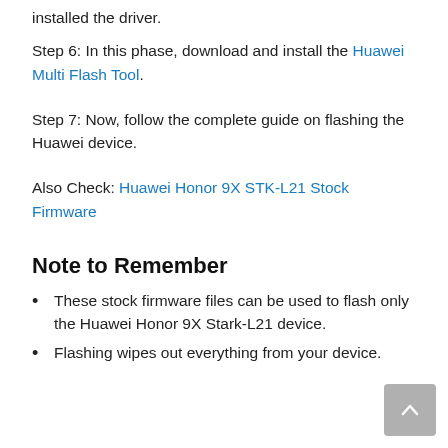installed the driver.
Step 6: In this phase, download and install the Huawei Multi Flash Tool.
Step 7: Now, follow the complete guide on flashing the Huawei device.
Also Check: Huawei Honor 9X STK-L21 Stock Firmware
Note to Remember
These stock firmware files can be used to flash only the Huawei Honor 9X Stark-L21 device.
Flashing wipes out everything from your device.